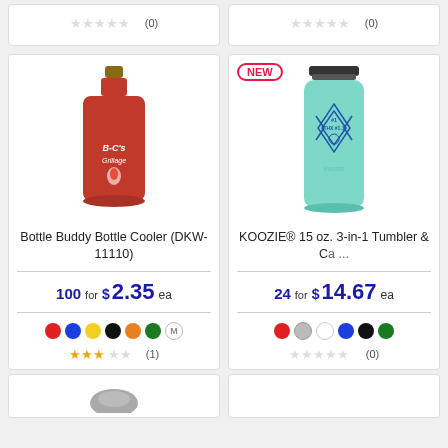[Figure (screenshot): Two stub product cards at top showing star ratings of (0) each]
[Figure (photo): Red bottle koozie/cooler wrapped around a brown bottle]
Bottle Buddy Bottle Cooler (DKW-11110)
100 for $2.35 ea
[Figure (photo): Mint/teal KOOZIE 15 oz 3-in-1 Tumbler with blue logo design]
KOOZIE® 15 oz. 3-in-1 Tumbler & Ca ...
24 for $14.67 ea
[Figure (screenshot): Bottom partial product cards]
(1)
(0)